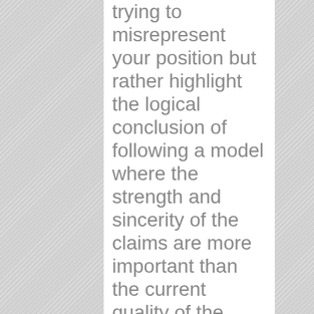trying to misrepresent your position but rather highlight the logical conclusion of following a model where the strength and sincerity of the claims are more important than the current quality of the evidence